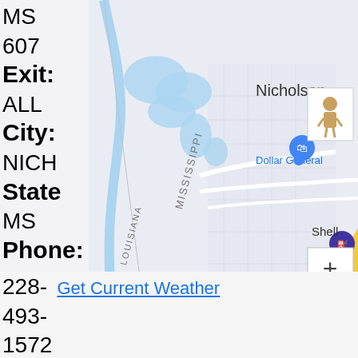[Figure (map): Google Maps screenshot showing Nicholson, Mississippi/Louisiana border area near I-59 and highway 607. Shows Dollar General, Shell gas station, and state boundary between Mississippi and Louisiana. Includes zoom controls (+/-) and pegman icon, keyboard shortcuts bar, and Google copyright notice.]
MS
607
Exit: ALL
City: NICH
State: MS
Phone:
228-
493-
1572
(J.R.)
Phone 2:
601-
337-
Get Current Weather